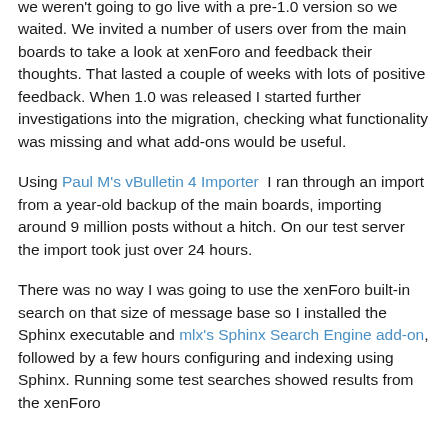we weren't going to go live with a pre-1.0 version so we waited. We invited a number of users over from the main boards to take a look at xenForo and feedback their thoughts. That lasted a couple of weeks with lots of positive feedback. When 1.0 was released I started further investigations into the migration, checking what functionality was missing and what add-ons would be useful.
Using Paul M's vBulletin 4 Importer I ran through an import from a year-old backup of the main boards, importing around 9 million posts without a hitch. On our test server the import took just over 24 hours.
There was no way I was going to use the xenForo built-in search on that size of message base so I installed the Sphinx executable and mlx's Sphinx Search Engine add-on, followed by a few hours configuring and indexing using Sphinx. Running some test searches showed results from the xenForo